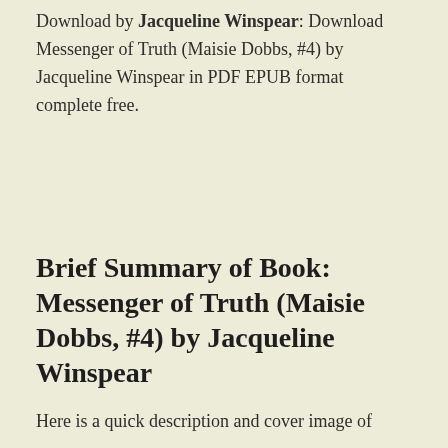Download by Jacqueline Winspear: Download Messenger of Truth (Maisie Dobbs, #4) by Jacqueline Winspear in PDF EPUB format complete free.
Brief Summary of Book: Messenger of Truth (Maisie Dobbs, #4) by Jacqueline Winspear
Here is a quick description and cover image of